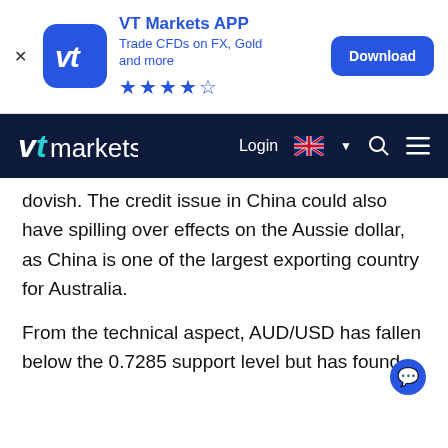[Figure (screenshot): VT Markets APP advertisement banner with app icon (blue rounded square with 'vt' logo), app title 'VT Markets APP', subtitle 'Trade CFDs on FX, Gold and more', 4.5 star rating, and a blue 'Download' button]
[Figure (screenshot): VT Markets navigation bar with logo on left, Login link, UK flag with dropdown, search icon, and hamburger menu icon, on dark navy background]
dovish. The credit issue in China could also have spilling over effects on the Aussie dollar, as China is one of the largest exporting country for Australia.
From the technical aspect, AUD/USD has fallen below the 0.7285 support level but has found